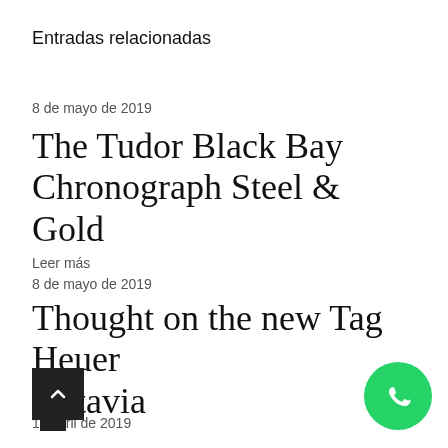Entradas relacionadas
8 de mayo de 2019
The Tudor Black Bay Chronograph Steel & Gold
Leer más
8 de mayo de 2019
Thought on the new Tag Heuer Autavia
Leer más
1 de abril de 2019
[Figure (other): WhatsApp contact button icon (green circle with white phone/chat logo)]